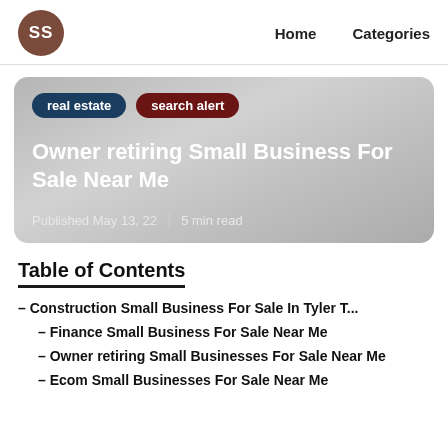SS  Home  Categories
[Figure (other): Hero card with gradient grey background showing tags 'real estate' and 'search alert', article title 'Owner retiring Small Business For Sale Near Me', and metadata 'Published May 13, 22 | 5 min read']
Table of Contents
– Construction Small Business For Sale In Tyler T...
– Finance Small Business For Sale Near Me
– Owner retiring Small Businesses For Sale Near Me
– Ecom Small Businesses For Sale Near Me